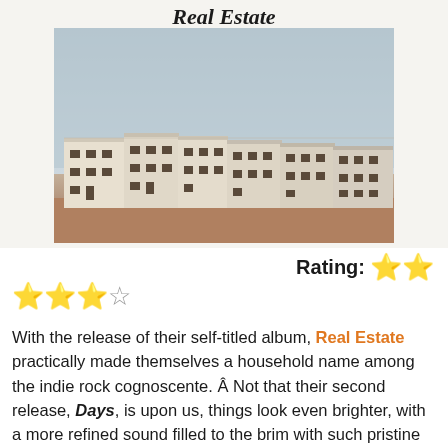[Figure (photo): Album cover for Real Estate self-titled album, showing white apartment buildings against a pale grey-blue sky with brown/tan ground, with 'Real Estate' in decorative italic script at the top]
Rating: ⭐⭐⭐⭐ (shown as 2 stars on right + 2 full and 1 half star on left)
With the release of their self-titled album, Real Estate practically made themselves a household name among the indie rock cognoscente. Â Not that their second release, Days, is upon us, things look even brighter, with a more refined sound filled to the brim with such pristine pop moments that it'll be hard not to give the